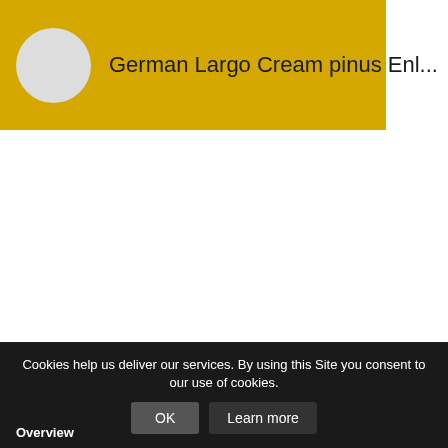[Figure (other): Yellow banner with a circular grey avatar placeholder and the truncated title 'German Largo Cream pinus Enl...']
Cookies help us deliver our services. By using this Site you consent to our use of cookies.
OK
Learn more
Overview